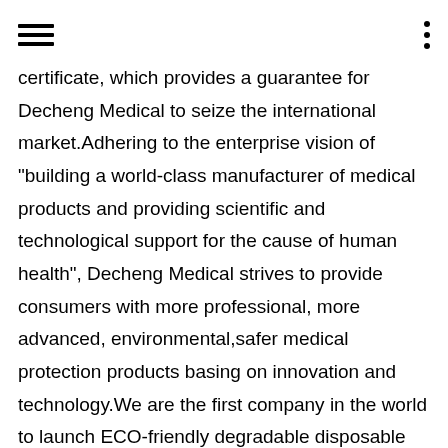[hamburger menu icon] [three dots icon]
certificate, which provides a guarantee for Decheng Medical to seize the international market.Adhering to the enterprise vision of "building a world-class manufacturer of medical products and providing scientific and technological support for the cause of human health", Decheng Medical strives to provide consumers with more professional, more advanced, environmental,safer medical protection products basing on innovation and technology.We are the first company in the world to launch ECO-friendly degradable disposable gloves, and our product performance is at the world leading level. We mainly produce and sell disposable nitrile gloves, waterborne polyurethane disposable gloves, composite nitrile gloves and other protective products. Our market covers more than 80 countries and regions such as the